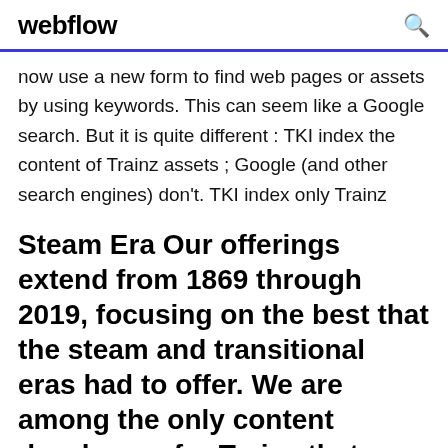webflow
now use a new form to find web pages or assets by using keywords. This can seem like a Google search. But it is quite different : TKI index the content of Trainz assets ; Google (and other search engines) don't. TKI index only Trainz
Steam Era Our offerings extend from 1869 through 2019, focusing on the best that the steam and transitional eras had to offer. We are among the only content developers for Trainz that frequently model 1890s and early 1900s equipment